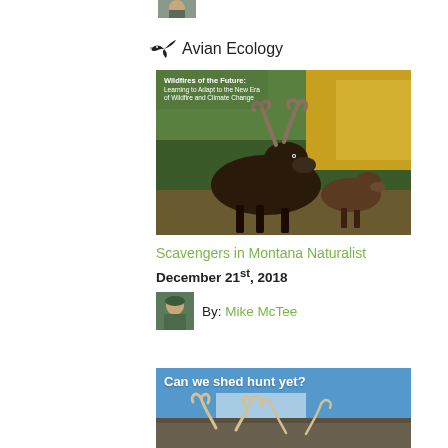[Figure (photo): Small thumbnail portrait photo at top]
Avian Ecology
[Figure (photo): Photo of two moose in a forested setting with text overlay: Wildfires of the Future: Learning to Adapt to the New Era of Wildfire and Climate Change]
Scavengers in Montana Naturalist
December 21st, 2018
[Figure (photo): Small circular/square thumbnail portrait of Mike McTee]
By: Mike McTee
[Figure (photo): Photo with text overlay: Can we shed hunt yet? showing antlers on rocky ground with blue sky]